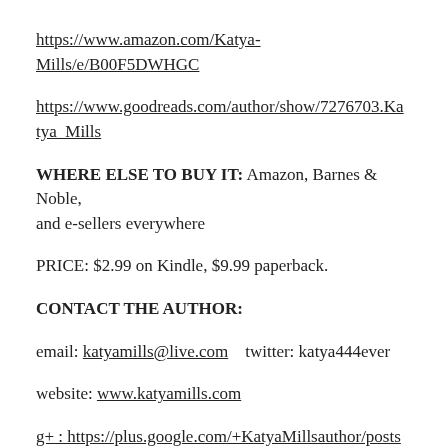https://www.amazon.com/Katya-Mills/e/B00F5DWHGC
https://www.goodreads.com/author/show/7276703.Katya_Mills
WHERE ELSE TO BUY IT: Amazon, Barnes & Noble, and e-sellers everywhere
PRICE: $2.99 on Kindle, $9.99 paperback.
CONTACT THE AUTHOR:
email: katyamills@live.com    twitter: katya444ever
website: www.katyamills.com
g+ : https://plus.google.com/+KatyaMillsauthor/posts